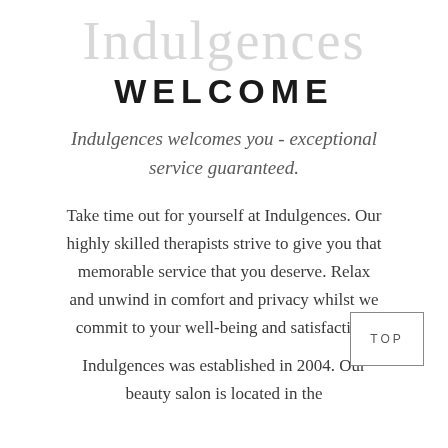[Figure (illustration): Decorative script watermark text reading 'Indulgences' in light grey cursive font behind the WELCOME heading]
WELCOME
Indulgences welcomes you - exceptional service guaranteed.
Take time out for yourself at Indulgences. Our highly skilled therapists strive to give you that memorable service that you deserve. Relax and unwind in comfort and privacy whilst we commit to your well-being and satisfaction.
Indulgences was established in 2004. Our beauty salon is located in the